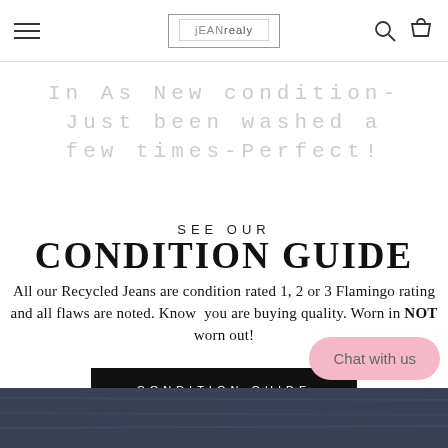Navigation bar with hamburger menu, brand logo, search and cart icons
In As New condition- Just been washed a few times-Perfect!
SEE OUR
CONDITION GUIDE
All our Recycled Jeans are condition rated 1, 2 or 3 Flamingo rating and all flaws are noted. Know you are buying quality. Worn in NOT worn out!
CONDITION GUIDE
[Figure (photo): Bottom strip showing denim jeans close-up photo]
Chat with us